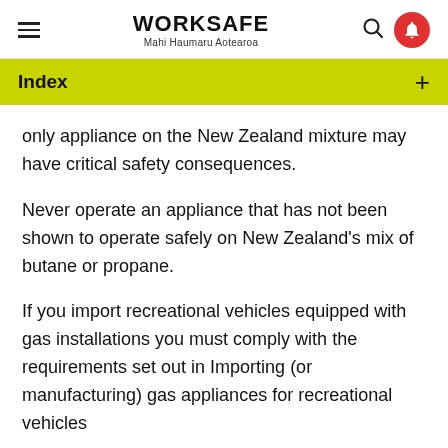WORKSAFE Mahi Haumaru Aotearoa
Index
only appliance on the New Zealand mixture may have critical safety consequences.
Never operate an appliance that has not been shown to operate safely on New Zealand's mix of butane or propane.
If you import recreational vehicles equipped with gas installations you must comply with the requirements set out in Importing (or manufacturing) gas appliances for recreational vehicles